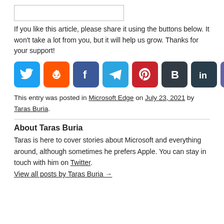[Figure (other): Empty input/search box]
If you like this article, please share it using the buttons below. It won't take a lot from you, but it will help us grow. Thanks for your support!
[Figure (infographic): Row of social share buttons: Twitter, Reddit, Facebook, Telegram, Pinterest, Buffer, LinkedIn, Microsoft Teams]
This entry was posted in Microsoft Edge on July 23, 2021 by Taras Buria.
About Taras Buria
Taras is here to cover stories about Microsoft and everything around, although sometimes he prefers Apple. You can stay in touch with him on Twitter.
View all posts by Taras Buria →